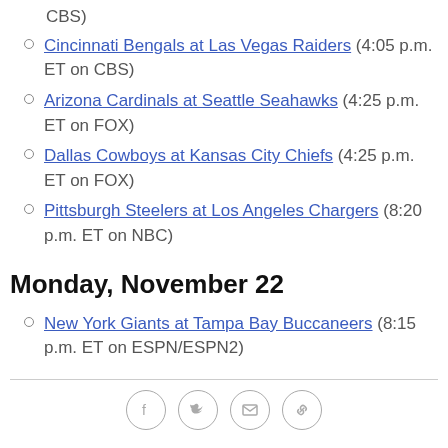Cincinnati Bengals at Las Vegas Raiders (4:05 p.m. ET on CBS)
Arizona Cardinals at Seattle Seahawks (4:25 p.m. ET on FOX)
Dallas Cowboys at Kansas City Chiefs (4:25 p.m. ET on FOX)
Pittsburgh Steelers at Los Angeles Chargers (8:20 p.m. ET on NBC)
Monday, November 22
New York Giants at Tampa Bay Buccaneers (8:15 p.m. ET on ESPN/ESPN2)
Social share icons: Facebook, Twitter, Email, Link